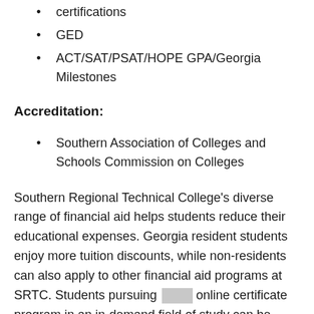certifications
GED
ACT/SAT/PSAT/HOPE GPA/Georgia Milestones
Accreditation:
Southern Association of Colleges and Schools Commission on Colleges
Southern Regional Technical College's diverse range of financial aid helps students reduce their educational expenses. Georgia resident students enjoy more tuition discounts, while non-residents can also apply to other financial aid programs at SRTC. Students pursuing [redacted] online certificate program in an in-demand field of study can be eligible for a HOPE Career Grant.